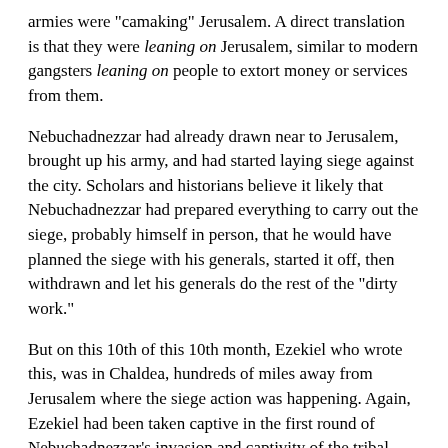armies were 'camaking' Jerusalem. A direct translation is that they were leaning on Jerusalem, similar to modern gangsters leaning on people to extort money or services from them.
Nebuchadnezzar had already drawn near to Jerusalem, brought up his army, and had started laying siege against the city. Scholars and historians believe it likely that Nebuchadnezzar had prepared everything to carry out the siege, probably himself in person, that he would have planned the siege with his generals, started it off, then withdrawn and let his generals do the rest of the "dirty work."
But on this 10th of this 10th month, Ezekiel who wrote this, was in Chaldea, hundreds of miles away from Jerusalem where the siege action was happening. Again, Ezekiel had been taken captive in the first round of Nebuchadnezzar's invasion and captivity of the tribal lands of Judah. But although Ezekiel was many miles from his home in Jerusalem, God inspired him with this message on the very same day that this action was happening. So, in effect, the message came from the LORD Himself, showing...